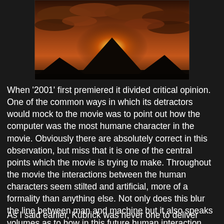[Figure (photo): A dark cinematic still showing a silhouette of a mountain or monolith against a dramatic sunset sky with orange/red clouds and a bright glowing sun or light source.]
When '2001' first premiered it divided critical opinion. One of the common ways in which its detractors would mock to the movie was to point out how the computer was the most humane character in the movie. Obviously there are absolutely correct in this observation, but miss that it is one of the central points which the movie is trying to make. Throughout the movie the interactions between the human characters seem stilted and artificial, more of a formality than anything else. Not only does this blur the line between man and machine but it also speaks volumes as to how in this future human interaction has been altered by the presence of technology. Good thing that hasn't happened in reality, right…..
As I said earlier, Kubrick was never one to deliver some